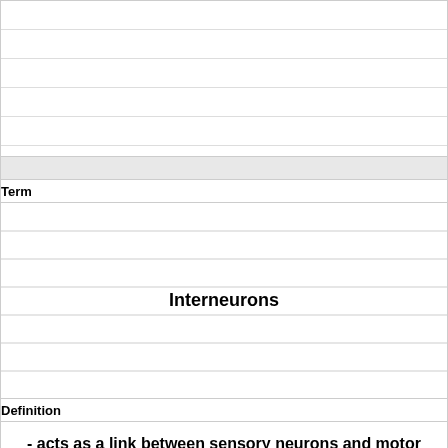| Term | Definition |
| --- | --- |
| Interneurons | - acts as a link between sensory neurons and motor neurons. |